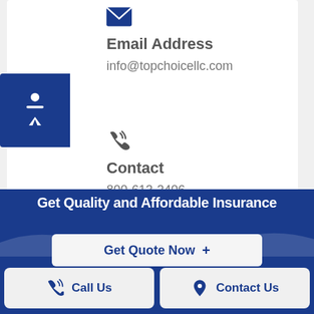[Figure (illustration): Blue envelope icon]
Email Address
info@topchoicellc.com
[Figure (illustration): Blue accessibility wheelchair icon in blue square]
[Figure (illustration): Phone with sound waves icon]
Contact
800-613-2406
Get Quality and Affordable Insurance
Get Quote Now +
Call Us
Contact Us